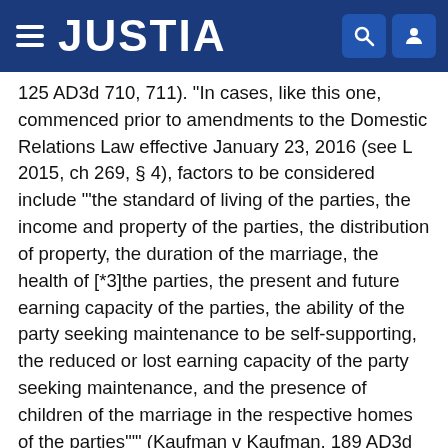JUSTIA
125 AD3d 710, 711). "In cases, like this one, commenced prior to amendments to the Domestic Relations Law effective January 23, 2016 (see L 2015, ch 269, § 4), factors to be considered include "'the standard of living of the parties, the income and property of the parties, the distribution of property, the duration of the marriage, the health of [*3]the parties, the present and future earning capacity of the parties, the ability of the party seeking maintenance to be self-supporting, the reduced or lost earning capacity of the party seeking maintenance, and the presence of children of the marriage in the respective homes of the parties'"" (Kaufman v Kaufman, 189 AD3d at 69-70, quoting Gorman v Gorman, 165 AD3d 1067, 1069, quoting Gordon v Gordon, 113 AD3d 654, 655; see Domestic Relations Law former § 236[B][6][a]). "Maintenance is designed to give the spouse economic independence